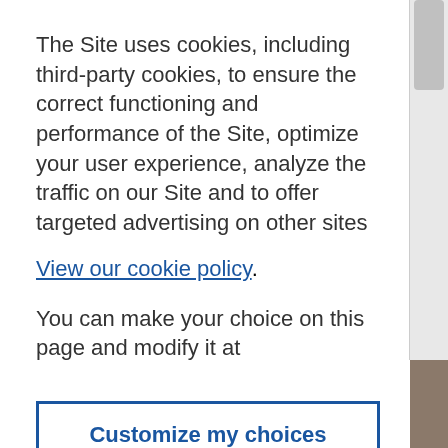The Site uses cookies, including third-party cookies, to ensure the correct functioning and performance of the Site, optimize your user experience, analyze the traffic on our Site and to offer targeted advertising on other sites
View our cookie policy.
You can make your choice on this page and modify it at
Customize my choices
Accept and close
[Figure (photo): Background photo visible at bottom of page, showing an interior scene with warm lighting]